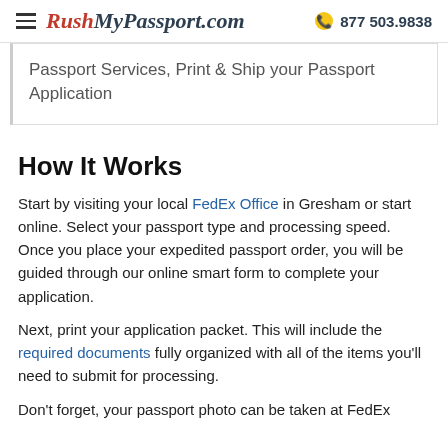RushMyPassport.com  877 503.9838
Passport Services, Print & Ship your Passport Application
How It Works
Start by visiting your local FedEx Office in Gresham or start online. Select your passport type and processing speed. Once you place your expedited passport order, you will be guided through our online smart form to complete your application.
Next, print your application packet. This will include the required documents fully organized with all of the items you'll need to submit for processing.
Don't forget, your passport photo can be taken at FedEx